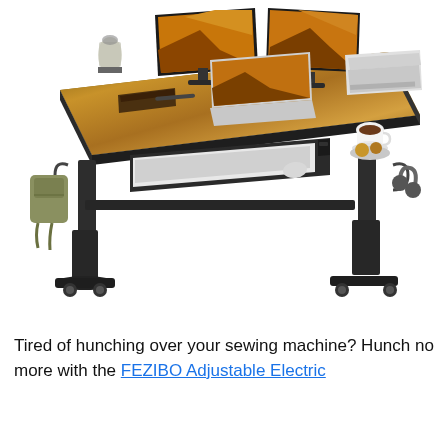[Figure (photo): Product photo of a FEZIBO adjustable electric standing desk with a rustic wood-grain tabletop on a dark metal frame with casters. The desk holds two large monitors, a laptop, a printer, coffee, snacks, a keyboard tray, a backpack hanging on the left side, and headphones on the right.]
Tired of hunching over your sewing machine? Hunch no more with the FEZIBO Adjustable Electric